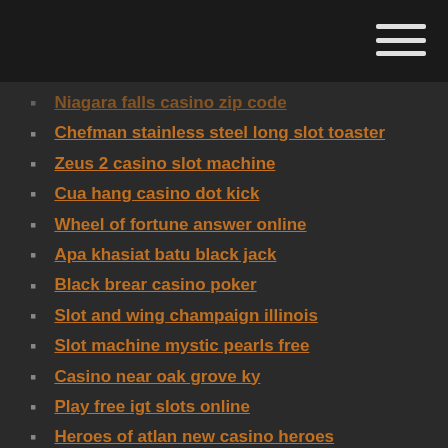Niagara falls casino zip code
Chefman stainless steel long slot toaster
Zeus 2 casino slot machine
Cua hang casino dot kick
Wheel of fortune answer online
Apa khasiat batu black jack
Black brear casino poker
Slot and wing champaign illinois
Slot machine mystic pearls free
Casino near oak grove ky
Play free igt slots online
Heroes of atlan new casino heroes
Nexus 5 no sd slot
El dorado casino reno spa